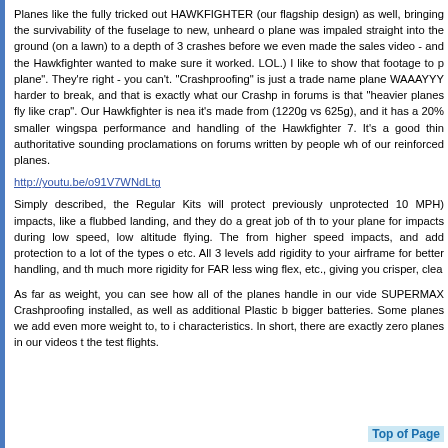Planes like the fully tricked out HAWKFIGHTER (our flagship design) as well, bringing the survivability of the fuselage to new, unheard of levels. plane was impaled straight into the ground (on a lawn) to a depth of 3... crashes before we even made the sales video - and the Hawkfighter wanted to make sure it worked. LOL.) I like to show that footage to p plane". They're right - you can't. "Crashproofing" is just a trade name plane WAAAYYY harder to break, and that is exactly what our Crashp in forums is that "heavier planes fly like crap". Our Hawkfighter is nea it's made from (1220g vs 625g), and it has a 20% smaller wingspa performance and handling of the Hawkfighter 7. It's a good thin authoritative sounding proclamations on forums written by people who of our reinforced planes.
http://youtu.be/o91V7WNdLtg
Simply described, the Regular Kits will protect previously unprotected 10 MPH) impacts, like a flubbed landing, and they do a great job of th to your plane for impacts during low speed, low altitude flying. The from higher speed impacts, and add protection to a lot of the types o etc. All 3 levels add rigidity to your airframe for better handling, and th much more rigidity for FAR less wing flex, etc., giving you crisper, clea
As far as weight, you can see how all of the planes handle in our vide SUPERMAX Crashproofing installed, as well as additional Plastic b bigger batteries. Some planes we add even more weight to, to i characteristics. In short, there are exactly zero planes in our videos t the test flights.
Top of Page